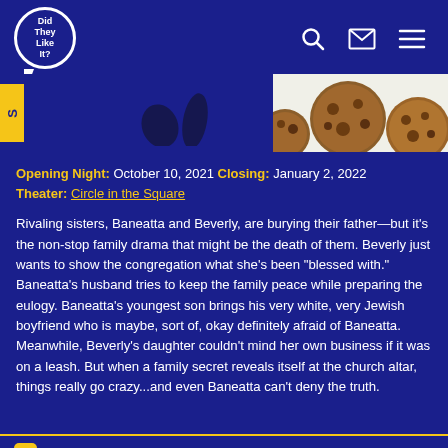Did They Like It? — navigation header with logo, search, mail, menu icons
[Figure (screenshot): Partial banner image showing cookies/baked goods on white background with dark blue overlay and yellow tag on left side]
Opening Night: October 10, 2021 Closing: January 2, 2022 Theater: Circle in the Square
Rivaling sisters, Baneatta and Beverly, are burying their father—but it's the non-stop family drama that might be the death of them. Beverly just wants to show the congregation what she's been "blessed with." Baneatta's husband tries to keep the family peace while preparing the eulogy. Baneatta's youngest son brings his very white, very Jewish boyfriend who is maybe, sort of, okay definitely afraid of Baneatta. Meanwhile, Beverly's daughter couldn't mind her own business if it was on a leash. But when a family secret reveals itself at the church altar, things really go crazy...and even Baneatta can't deny the truth.